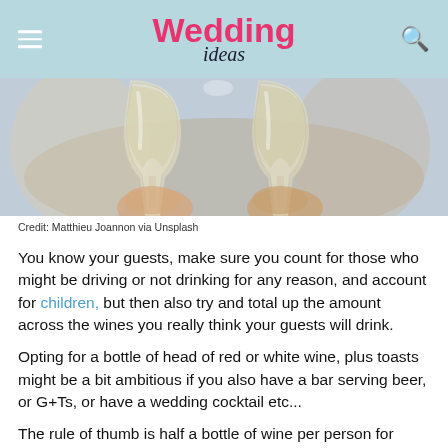Wedding ideas
[Figure (photo): Two hands clinking white wine glasses together, close-up shot with blurred background.]
Credit: Matthieu Joannon via Unsplash
You know your guests, make sure you count for those who might be driving or not drinking for any reason, and account for children, but then also try and total up the amount across the wines you really think your guests will drink.
Opting for a bottle of head of red or white wine, plus toasts might be a bit ambitious if you also have a bar serving beer, or G+Ts, or have a wedding cocktail etc...
The rule of thumb is half a bottle of wine per person for